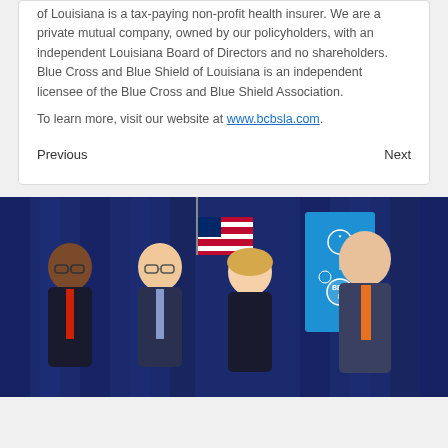of Louisiana is a tax-paying non-profit health insurer. We are a private mutual company, owned by our policyholders, with an independent Louisiana Board of Directors and no shareholders. Blue Cross and Blue Shield of Louisiana is an independent licensee of the Blue Cross and Blue Shield Association.
To learn more, visit our website at www.bcbsla.com.
Previous    Next
[Figure (photo): Four professionals (three men and one woman) standing together smiling in front of a blue curtain backdrop with a BBDC banner/sign. An American flag is visible in the background. The individuals are wearing business attire with name badges.]